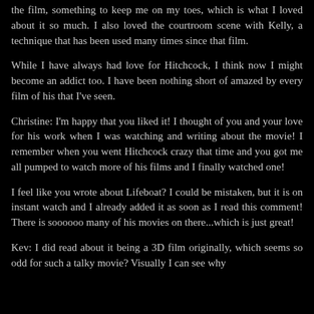the film, something to keep me on my toes, which is what I loved about it so much. I also loved the courtroom scene with Kelly, a technique that has been used many times since that film.
While I have always had love for Hitchcock, I think now I might become an addict too. I have been nothing short of amazed by every film of his that I've seen.
Christine: I'm happy that you liked it! I thought of you and your love for his work when I was watching and writing about the movie! I remember when you went Hitchcock crazy that time and you got me all pumped to watch more of his films and I finally watched one!
I feel like you wrote about Lifeboat? I could be mistaken, but it is on instant watch and I already added it as soon as I read this comment! There is soooooo many of his movies on there...which is just great!
Kev: I did read about it being a 3D film originally, which seems so odd for such a talky movie? Visually I can see why